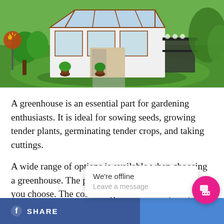[Figure (photo): Photograph of a greenhouse with glass panels and wooden frame, surrounded by green lawn, potted plants, and garden decorations on a sunny day.]
A greenhouse is an essential part for gardening enthusiasts. It is ideal for sowing seeds, growing tender plants, germinating tender crops, and taking cuttings.
A wide range of options is available when choosing a greenhouse. The prices depend upon the variety you choose. The cost of a greenhouse may vary from a hundred to thousands of dollars.
f SHARE
We're offline
Leave a message